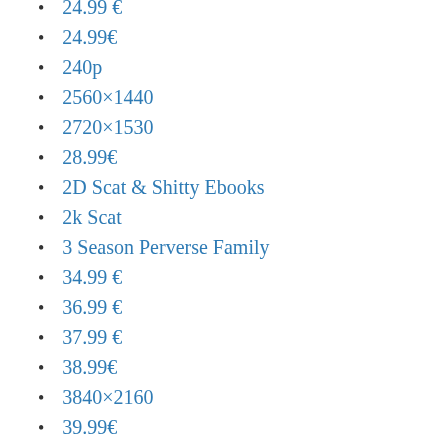24.99 €
24.99€
240p
2560×1440
2720×1530
28.99€
2D Scat & Shitty Ebooks
2k Scat
3 Season Perverse Family
34.99 €
36.99 €
37.99 €
38.99€
3840×2160
39.99€
408×720